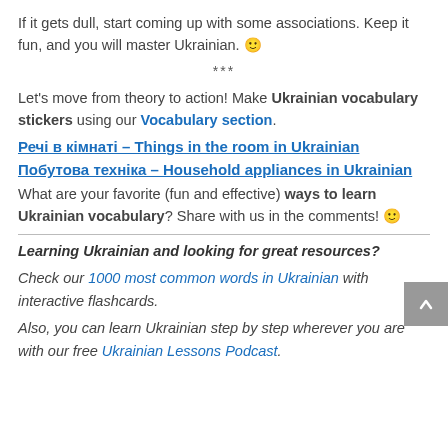If it gets dull, start coming up with some associations. Keep it fun, and you will master Ukrainian. 🙂
***
Let's move from theory to action! Make Ukrainian vocabulary stickers using our Vocabulary section.
Речі в кімнаті – Things in the room in Ukrainian
Побутова техніка – Household appliances in Ukrainian
What are your favorite (fun and effective) ways to learn Ukrainian vocabulary? Share with us in the comments! 🙂
Learning Ukrainian and looking for great resources?
Check our 1000 most common words in Ukrainian with interactive flashcards.
Also, you can learn Ukrainian step by step wherever you are with our free Ukrainian Lessons Podcast.